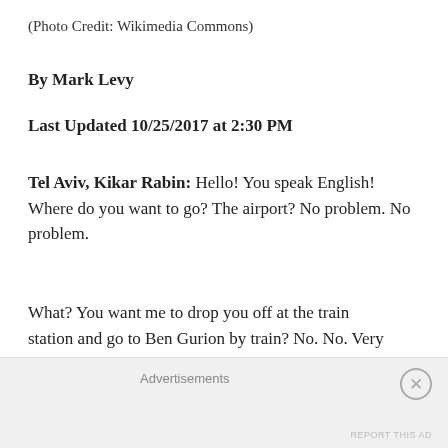(Photo Credit: Wikimedia Commons)
By Mark Levy
Last Updated 10/25/2017 at 2:30 PM
Tel Aviv, Kikar Rabin: Hello! You speak English! Where do you want to go? The airport? No problem. No problem.
What? You want me to drop you off at the train station and go to Ben Gurion by train? No. No. Very bad, the trains today. Very bad. I take you all the way to Ben Gurion. No problem.
Advertisements